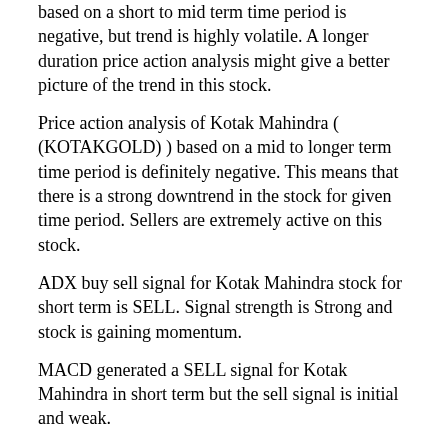based on a short to mid term time period is negative, but trend is highly volatile. A longer duration price action analysis might give a better picture of the trend in this stock.
Price action analysis of Kotak Mahindra ( (KOTAKGOLD) ) based on a mid to longer term time period is definitely negative. This means that there is a strong downtrend in the stock for given time period. Sellers are extremely active on this stock.
ADX buy sell signal for Kotak Mahindra stock for short term is SELL. Signal strength is Strong and stock is gaining momentum.
MACD generated a SELL signal for Kotak Mahindra in short term but the sell signal is initial and weak.
Kotak Mahindra Stock is trading near its recent LOWS in short term which reflects strong selling momentum. Bears are getting stronger in this stock.
Ichimoku cloud is of green color and prices are above the green cloud Prices appear to be moving up
CCI has generated a SELL signal for Kotak Mahindra in short term and SELL signal is strong!
RSI is generating a BUY signal in short term but buying is